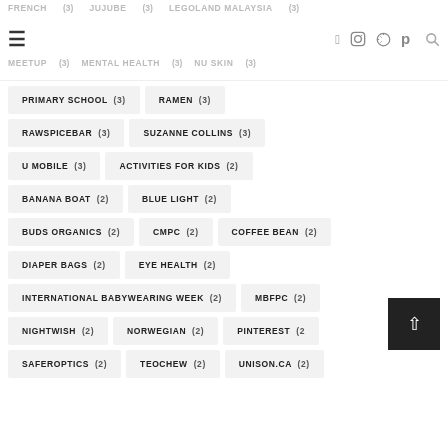FRENCH (3)   JUJUBE (3)   LEGOLAND MALAYSIA (3)   [hamburger] [facebook] [instagram] [pinterest] [search]   MEETUP (3)   MENTAL HEALTH (3)   NU SKIN (3)
PRIMARY SCHOOL (3)
RAMEN (3)
RAWSPICEBAR (3)
SUZANNE COLLINS (3)
U MOBILE (3)
ACTIVITIES FOR KIDS (2)
BANANA BOAT (2)
BLUE LIGHT (2)
BUDS ORGANICS (2)
CMPC (2)
COFFEE BEAN (2)
DIAPER BAGS (2)
EYE HEALTH (2)
INTERNATIONAL BABYWEARING WEEK (2)
MBFPC (2)
NIGHTWISH (2)
NORWEGIAN (2)
PINTEREST (2)
SAFEROPTICS (2)
TEOCHEW (2)
UNISON.CA (2)